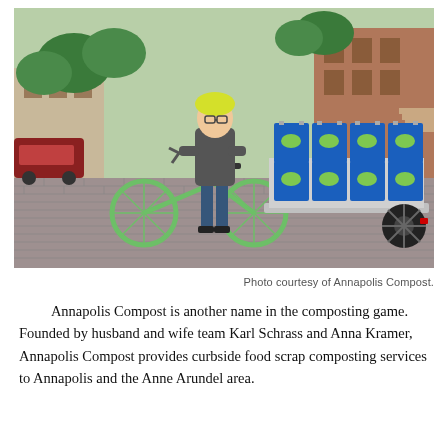[Figure (photo): A man wearing a yellow helmet and grey shirt stands with arms crossed next to a green bicycle attached to a large trailer loaded with blue bins marked with a green logo. The scene is on a brick-paved street with trees and brick buildings in the background.]
Photo courtesy of Annapolis Compost.
Annapolis Compost is another name in the composting game. Founded by husband and wife team Karl Schrass and Anna Kramer, Annapolis Compost provides curbside food scrap composting services to Annapolis and the Anne Arundel area.